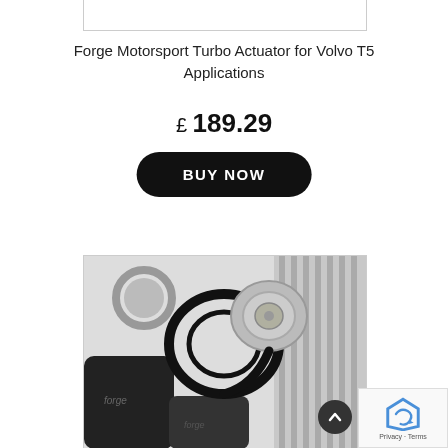[Figure (other): Top portion of a product image (white background), partially visible at top of page]
Forge Motorsport Turbo Actuator for Volvo T5 Applications
£ 189.29
BUY NOW
[Figure (photo): Product photo showing Forge Motorsport turbo kit parts including black silicone hoses with Forge branding, metal clamps, a circular actuator/compressor housing with hose attached, and striped metal intercooler pipes on a light background]